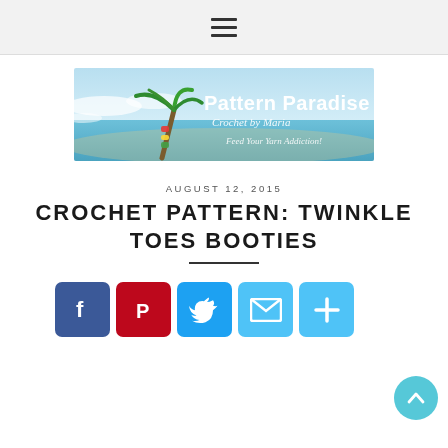≡ (hamburger menu icon)
[Figure (logo): Pattern Paradise - Crochet by Maria - Feed Your Yarn Addiction! beach/palm tree banner]
AUGUST 12, 2015
CROCHET PATTERN: TWINKLE TOES BOOTIES
[Figure (infographic): Social sharing icons row: Facebook (blue f), Pinterest (red P), Twitter (blue bird), Email (blue envelope), Share/Plus (blue plus sign), and a scroll-to-top button (teal circle with up arrow)]